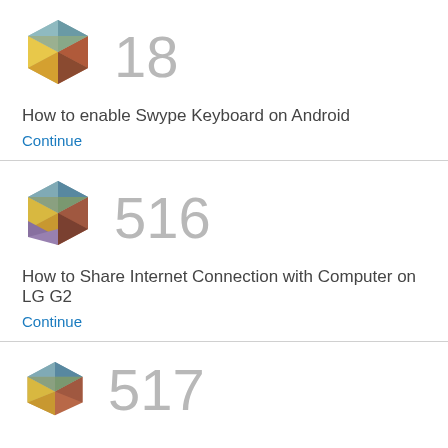[Figure (logo): Colorful geometric hexagon cube icon]
18
How to enable Swype Keyboard on Android
Continue
[Figure (logo): Colorful geometric hexagon cube icon]
516
How to Share Internet Connection with Computer on LG G2
Continue
[Figure (logo): Colorful geometric hexagon cube icon (partial)]
517